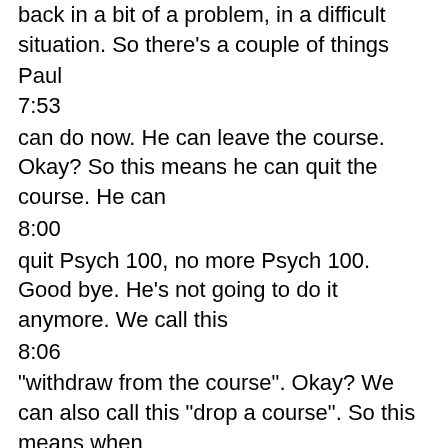back in a bit of a problem, in a difficult situation. So there's a couple of things
Paul
7:53
can do now. He can leave the course. Okay? So this means he can quit the course. He can
8:00
quit Psych 100, no more Psych 100. Good bye. He's not going to do it anymore. We call this
8:06
"withdraw from the course". Okay? We can also call this "drop a course". So this means when
8:14
you leave a course before you finish it. You drop out, you quit the course.
8:20